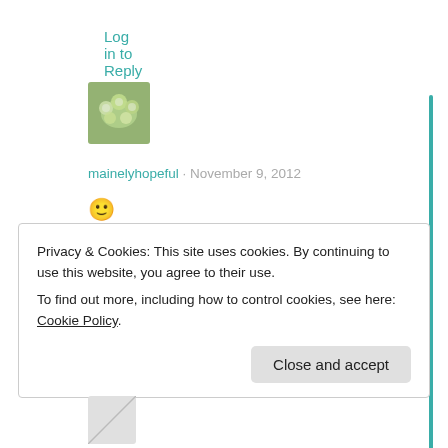Log in to Reply
[Figure (photo): Green floral avatar image]
mainelyhopeful · November 9, 2012
🙂
★ Like
Log in to Reply
Privacy & Cookies: This site uses cookies. By continuing to use this website, you agree to their use.
To find out more, including how to control cookies, see here: Cookie Policy
Close and accept